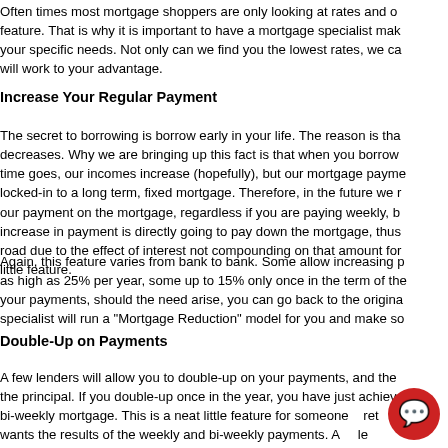Often times most mortgage shoppers are only looking at rates and other feature. That is why it is important to have a mortgage specialist make your specific needs. Not only can we find you the lowest rates, we ca will work to your advantage.
Increase Your Regular Payment
The secret to borrowing is borrow early in your life. The reason is tha decreases. Why we are bringing up this fact is that when you borrow time goes, our incomes increase (hopefully), but our mortgage payme locked-in to a long term, fixed mortgage. Therefore, in the future we r our payment on the mortgage, regardless if you are paying weekly, b increase in payment is directly going to pay down the mortgage, thus road due to the effect of interest not compounding on that amount for little feature.
Again, this feature varies from bank to bank. Some allow increasing p as high as 25% per year, some up to 15% only once in the term of the your payments, should the need arise, you can go back to the origina specialist will run a "Mortgage Reduction" model for you and make so
Double-Up on Payments
A few lenders will allow you to double-up on your payments, and the the principal. If you double-up once in the year, you have just achieve bi-weekly mortgage. This is a neat little feature for someone who ret wants the results of the weekly and bi-weekly payments. A le skip a payment if you have made a double payment previousl this d